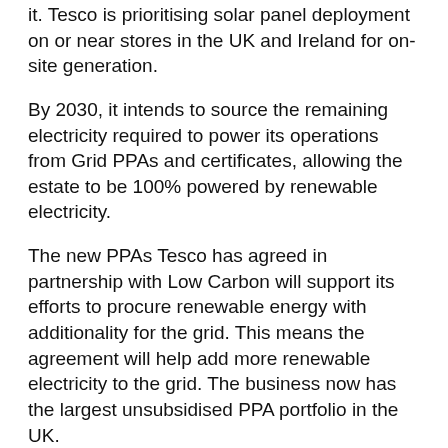it. Tesco is prioritising solar panel deployment on or near stores in the UK and Ireland for on-site generation.
By 2030, it intends to source the remaining electricity required to power its operations from Grid PPAs and certificates, allowing the estate to be 100% powered by renewable electricity.
The new PPAs Tesco has agreed in partnership with Low Carbon will support its efforts to procure renewable energy with additionality for the grid. This means the agreement will help add more renewable electricity to the grid. The business now has the largest unsubsidised PPA portfolio in the UK.
Tesco intends to move to 100% in Central Europe by Spring 2021 and already sources all its electricity in the UK, Ireland and Slovakia from certificate-backed renewable electricity.
More information on Tesco's ambition to use 100% renewable energy by 2030 can be found